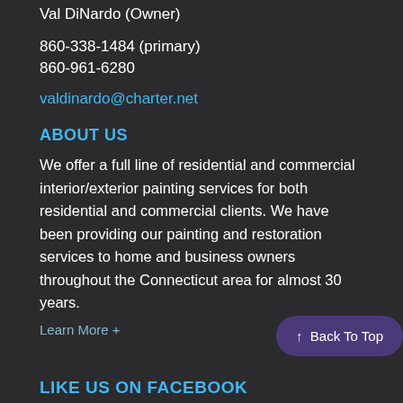Val DiNardo (Owner)
860-338-1484 (primary)
860-961-6280
valdinardo@charter.net
ABOUT US
We offer a full line of residential and commercial interior/exterior painting services for both residential and commercial clients. We have been providing our painting and restoration services to home and business owners throughout the Connecticut area for almost 30 years.
Learn More +
↑ Back To Top
LIKE US ON FACEBOOK